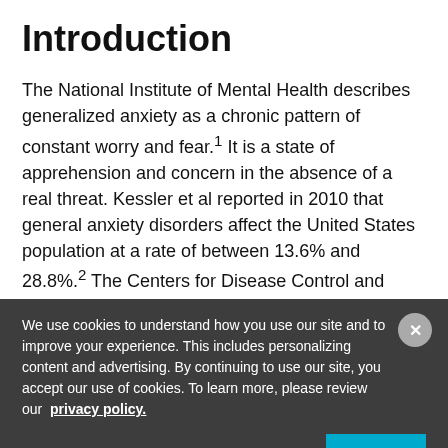Introduction
The National Institute of Mental Health describes generalized anxiety as a chronic pattern of constant worry and fear.1 It is a state of apprehension and concern in the absence of a real threat. Kessler et al reported in 2010 that general anxiety disorders affect the United States population at a rate of between 13.6% and 28.8%.2 The Centers for Disease Control and Prevention report that anxiety disorders, including GAD, are among the most common mental health issues faced by today's
We use cookies to understand how you use our site and to improve your experience. This includes personalizing content and advertising. By continuing to use our site, you accept our use of cookies. To learn more, please review our privacy policy.